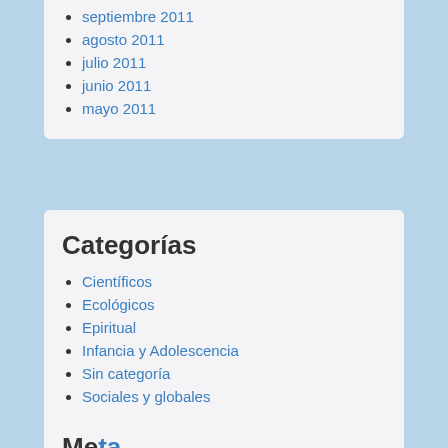septiembre 2011
agosto 2011
julio 2011
junio 2011
mayo 2011
Categorías
Científicos
Ecológicos
Epiritual
Infancia y Adolescencia
Sin categoría
Sociales y globales
Meta